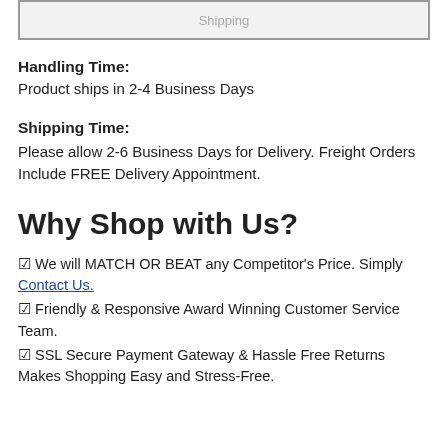[Figure (other): Top banner/box with faint text, partially visible at top of page]
Handling Time:
Product ships in 2-4 Business Days
Shipping Time:
Please allow 2-6 Business Days for Delivery. Freight Orders Include FREE Delivery Appointment.
Why Shop with Us?
☑ We will MATCH OR BEAT any Competitor's Price. Simply Contact Us.
☑ Friendly & Responsive Award Winning Customer Service Team.
☑ SSL Secure Payment Gateway & Hassle Free Returns Makes Shopping Easy and Stress-Free.